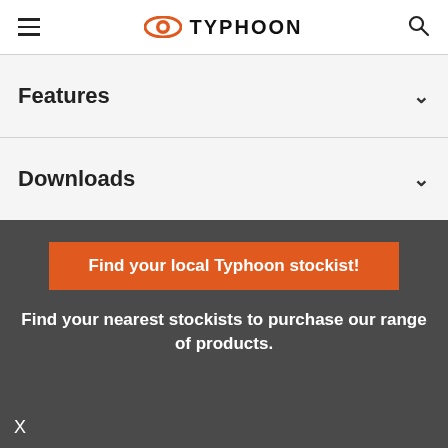TYPHOON
Features
Downloads
Find your local Typhoon stockist!
Find your nearest stockists to purchase our range of products.